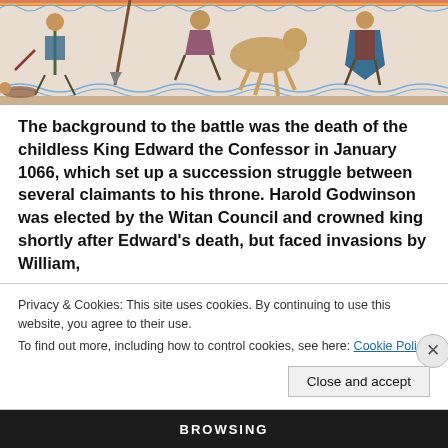[Figure (illustration): Section of the Bayeux Tapestry showing medieval battle scene with soldiers, horses, and warriors in colorful embroidered style on a light background]
The background to the battle was the death of the childless King Edward the Confessor in January 1066, which set up a succession struggle between several claimants to his throne. Harold Godwinson was elected by the Witan Council and crowned king shortly after Edward's death, but faced invasions by William,
Privacy & Cookies: This site uses cookies. By continuing to use this website, you agree to their use.
To find out more, including how to control cookies, see here: Cookie Policy
Close and accept